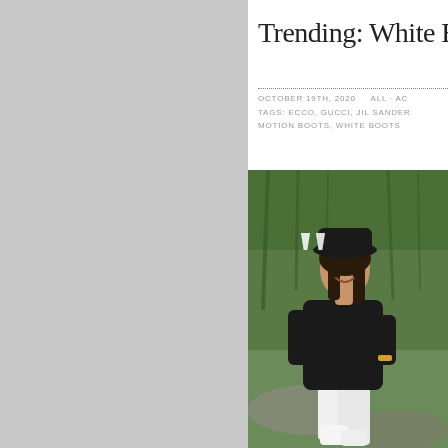Trending: White Boo
OCTOBER 19TH, 2020    ALL · AC
TAGS: ECCO, GUCCI, JIL SANDER
MOTION BOOTS, WHITE BOOTS
[Figure (photo): Woman in black hat and outfit sitting outdoors on rocks with white boots, trees in background, large white quotation marks overlay on photo]